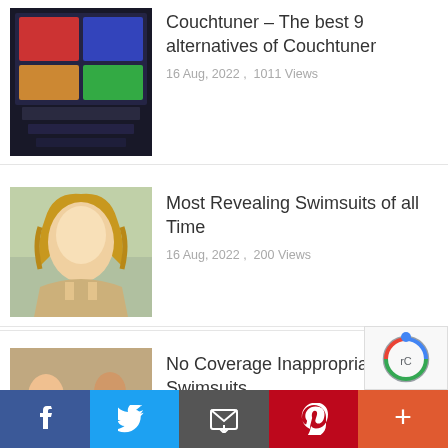Couchtuner – The best 9 alternatives of Couchtuner
16 Aug, 2022,  1011 Views
Most Revealing Swimsuits of all Time
16 Aug, 2022,  200 Views
No Coverage Inappropriate Swimsuits
16 Aug, 2022,  162 Views
ALSO CHECK
Back to School Necklace
16 Aug, 2022,  129 Views
How To Store & Organise Your Duvet Cover Sets